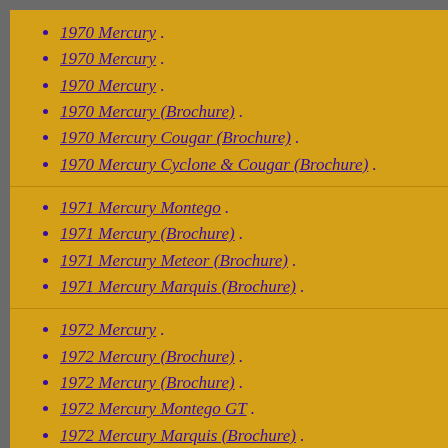1970 Mercury .
1970 Mercury .
1970 Mercury .
1970 Mercury (Brochure) .
1970 Mercury Cougar (Brochure) .
1970 Mercury Cyclone & Cougar (Brochure) .
1971 Mercury Montego .
1971 Mercury (Brochure) .
1971 Mercury Meteor (Brochure) .
1971 Mercury Marquis (Brochure) .
1972 Mercury .
1972 Mercury (Brochure) .
1972 Mercury (Brochure) .
1972 Mercury Montego GT .
1972 Mercury Marquis (Brochure) .
1972 Mercury wagons (Brochure) .
1972 Mercury Montego (Brochure) .
1973 Mercury (Brochure) .
1973 Mercury Meteor (Brochure) .
1973 Mercury Marquis (Brochure) .